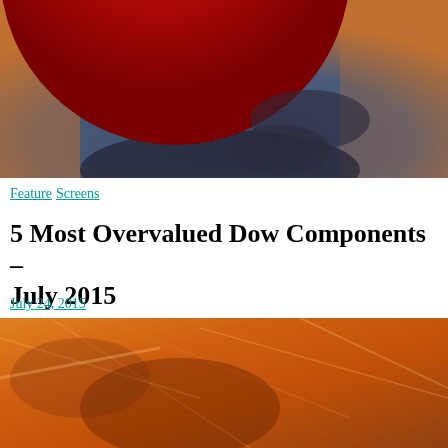[Figure (photo): Partial view of a large red circle (balloon or sphere) against a dramatic sky with warm orange and blue tones, photographed from below]
Feature Screens
5 Most Overvalued Dow Components – July 2015
July 24, 2015
[Figure (photo): Abstract warm orange and golden-toned image, appears to be fabric or flames with dark shadows]